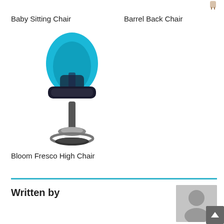Baby Sitting Chair
Barrel Back Chair
[Figure (photo): Bloom Fresco High Chair product photo — modern baby high chair with turquoise/blue shell seat, black tray, chrome pedestal base with ring footrest]
Bloom Fresco High Chair
Written by